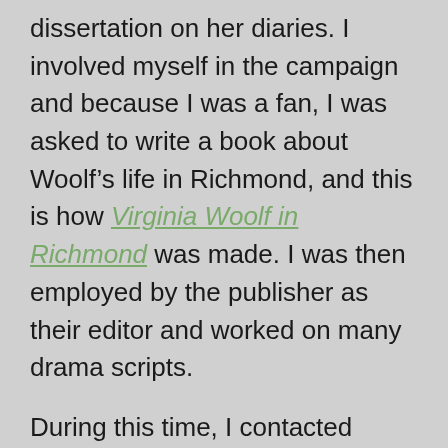dissertation on her diaries. I involved myself in the campaign and because I was a fan, I was asked to write a book about Woolf's life in Richmond, and this is how Virginia Woolf in Richmond was made. I was then employed by the publisher as their editor and worked on many drama scripts.
During this time, I contacted various ELT publishers to see if I could do any freelance editing work for them. I had a small task with a Japanese publisher which went fairly well and then I contacted a Greek publisher. Due to my experience with ELT exams, they asked if I would be prepared to write five practice tests for an ELT exam. Of course, I said yes. I didn't actually